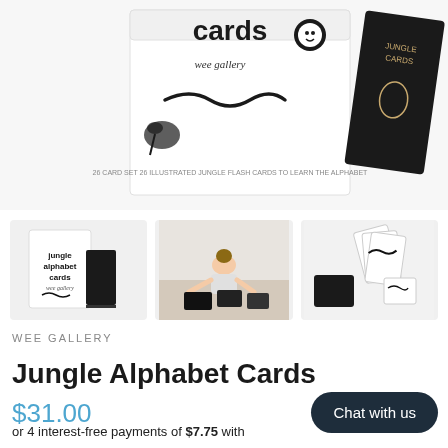[Figure (photo): Main product photo showing Jungle Alphabet Cards box (white) with monkey and snake illustration, and a dark box partially visible on the right, on white background]
[Figure (photo): Thumbnail 1: Jungle alphabet cards box with a black card case next to it]
[Figure (photo): Thumbnail 2: Child in white top leaning over spread-out cards on floor]
[Figure (photo): Thumbnail 3: Several alphabet cards fanned out showing black and white illustrations]
WEE GALLERY
Jungle Alphabet Cards
$31.00
Chat with us
or 4 interest-free payments of $7.75 with